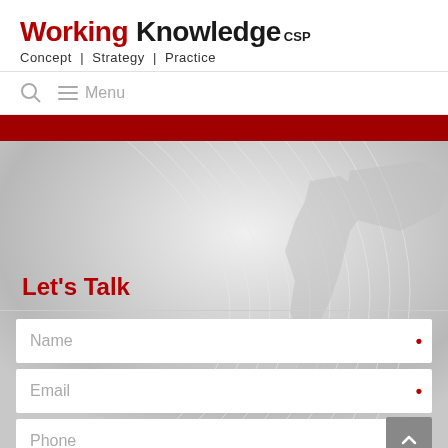Working Knowledge CSP — Concept | Strategy | Practice
[Figure (screenshot): Mobile website screenshot of Working Knowledge CSP with logo, navigation menu, globe graphic background, contact form with Name, Email, Phone fields and Submit button]
Let's Talk
Name •
Email •
Phone •
Submit